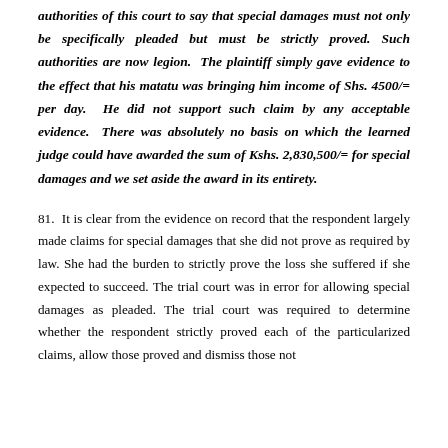authorities of this court to say that special damages must not only be specifically pleaded but must be strictly proved. Such authorities are now legion. The plaintiff simply gave evidence to the effect that his matatu was bringing him income of Shs. 4500/= per day. He did not support such claim by any acceptable evidence. There was absolutely no basis on which the learned judge could have awarded the sum of Kshs. 2,830,500/= for special damages and we set aside the award in its entirety.
81. It is clear from the evidence on record that the respondent largely made claims for special damages that she did not prove as required by law. She had the burden to strictly prove the loss she suffered if she expected to succeed. The trial court was in error for allowing special damages as pleaded. The trial court was required to determine whether the respondent strictly proved each of the particularized claims, allow those proved and dismiss those not